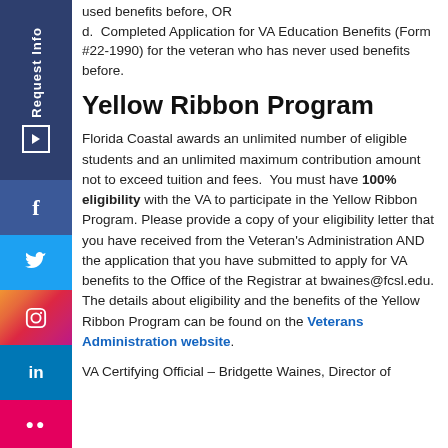used benefits before, OR
d.  Completed Application for VA Education Benefits (Form #22-1990) for the veteran who has never used benefits before.
Yellow Ribbon Program
Florida Coastal awards an unlimited number of eligible students and an unlimited maximum contribution amount not to exceed tuition and fees.  You must have 100% eligibility with the VA to participate in the Yellow Ribbon Program. Please provide a copy of your eligibility letter that you have received from the Veteran's Administration AND the application that you have submitted to apply for VA benefits to the Office of the Registrar at bwaines@fcsl.edu.  The details about eligibility and the benefits of the Yellow Ribbon Program can be found on the Veterans Administration website.
VA Certifying Official – Bridgette Waines, Director of